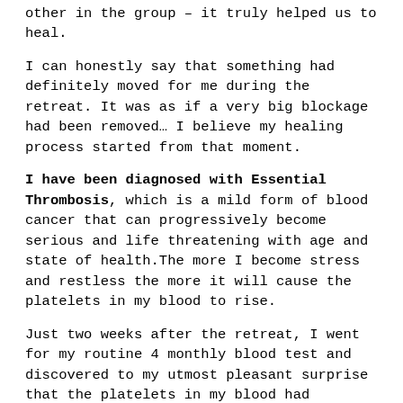other in the group – it truly helped us to heal.
I can honestly say that something had definitely moved for me during the retreat. It was as if a very big blockage had been removed… I believe my healing process started from that moment.
I have been diagnosed with Essential Thrombosis, which is a mild form of blood cancer that can progressively become serious and life threatening with age and state of health.The more I become stress and restless the more it will cause the platelets in my blood to rise.
Just two weeks after the retreat, I went for my routine 4 monthly blood test and discovered to my utmost pleasant surprise that the platelets in my blood had decreased by 10%  ..the decrease of blood platelets has never happened since I was diagnosed with this disease back in November 2015. For me, this is nothing short of a miracle...